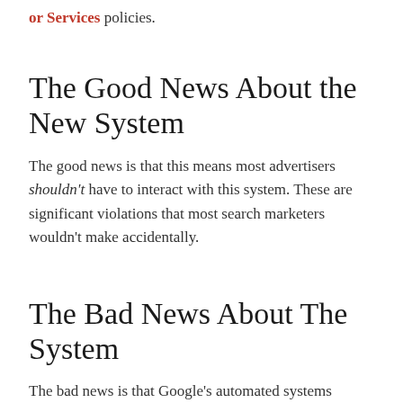or Services policies.
The Good News About the New System
The good news is that this means most advertisers shouldn't have to interact with this system. These are significant violations that most search marketers wouldn't make accidentally.
The Bad News About The System
The bad news is that Google's automated systems